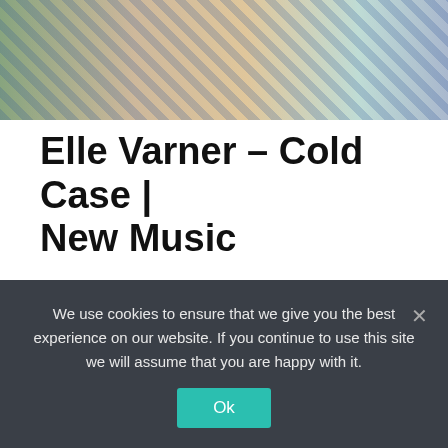[Figure (photo): Cropped photo of a person with decorative nails wearing a patterned outfit, colorful background]
Elle Varner – Cold Case | New Music
by Feliciana Lumona · March 7, 2014
After making her musical debut in 2012 with her album Perfectly Imperfect, R&B singer/ songwriter Elle Varner...
We use cookies to ensure that we give you the best experience on our website. If you continue to use this site we will assume that you are happy with it.